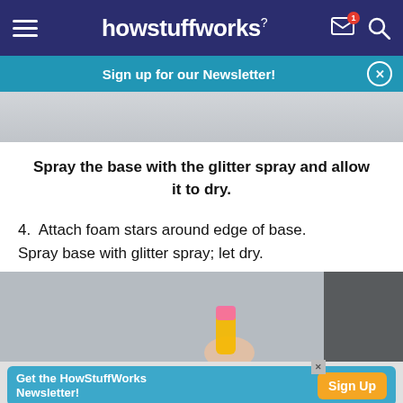howstuffworks
Sign up for our Newsletter!
[Figure (photo): Partial gray background photo at top of page]
Spray the base with the glitter spray and allow it to dry.
4. Attach foam stars around edge of base. Spray base with glitter spray; let dry.
[Figure (photo): Photo of a hand holding a pink and yellow item against gray background]
Get the HowStuffWorks Newsletter! Sign Up